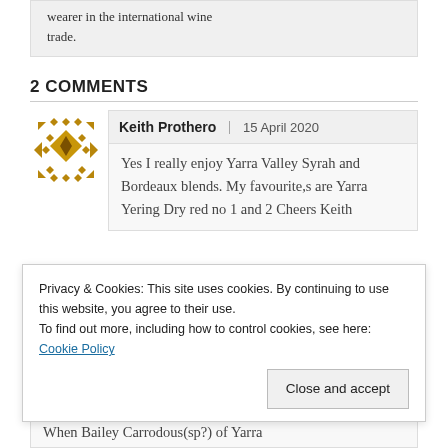wearer in the international wine trade.
2 COMMENTS
Keith Prothero | 15 April 2020
Yes I really enjoy Yarra Valley Syrah and Bordeaux blends. My favourite,s are Yarra Yering Dry red no 1 and 2 Cheers Keith
Privacy & Cookies: This site uses cookies. By continuing to use this website, you agree to their use.
To find out more, including how to control cookies, see here: Cookie Policy
Close and accept
When Bailey Carrodous(sp?) of Yarra